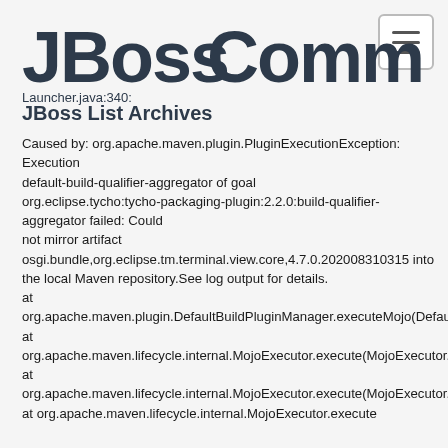[Figure (logo): JBoss Community logo with large bold text]
JBoss List Archives
Launcher.java:340:
Caused by: org.apache.maven.plugin.PluginExecutionException: Execution
default-build-qualifier-aggregator of goal
org.eclipse.tycho:tycho-packaging-plugin:2.2.0:build-qualifier-aggregator failed: Could
not mirror artifact
osgi.bundle,org.eclipse.tm.terminal.view.core,4.7.0.202008310315 into
the local Maven repository.See log output for details.
at
org.apache.maven.plugin.DefaultBuildPluginManager.executeMojo(DefaultBuildPluginManager.java:148)
at org.apache.maven.lifecycle.internal.MojoExecutor.execute(MojoExecutor.java:210)
at org.apache.maven.lifecycle.internal.MojoExecutor.execute(MojoExecutor.java:156)